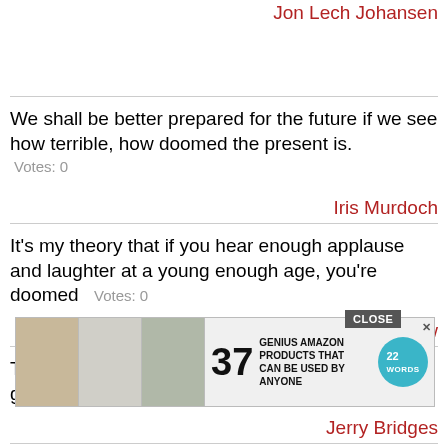Jon Lech Johansen
We shall be better prepared for the future if we see how terrible, how doomed the present is.
Votes: 0
Iris Murdoch
It's my theory that if you hear enough applause and laughter at a young enough age, you're doomed
Votes: 0
John Lithgow
The pursuit of holiness must be anchored in the grace of God; otherwise it is doomed to failure
Jerry Bridges
Just because some of us make a mistake in
[Figure (infographic): Advertisement banner: CLOSE button visible at top, showing '37 GENIUS AMAZON PRODUCTS THAT CAN BE USED BY ANYONE' with product images and 22 Words logo]